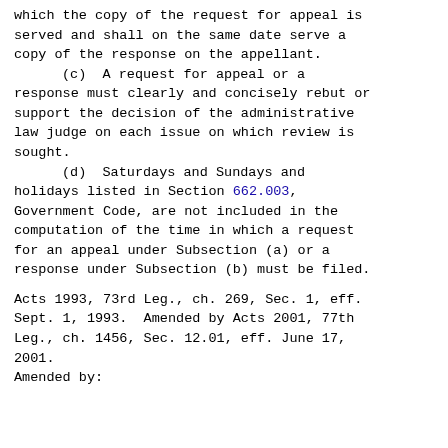which the copy of the request for appeal is served and shall on the same date serve a copy of the response on the appellant.
        (c)  A request for appeal or a response must clearly and concisely rebut or support the decision of the administrative law judge on each issue on which review is sought.
        (d)  Saturdays and Sundays and holidays listed in Section 662.003, Government Code, are not included in the computation of the time in which a request for an appeal under Subsection (a) or a response under Subsection (b) must be filed.
Acts 1993, 73rd Leg., ch. 269, Sec. 1, eff. Sept. 1, 1993.  Amended by Acts 2001, 77th Leg., ch. 1456, Sec. 12.01, eff. June 17, 2001.
Amended by: